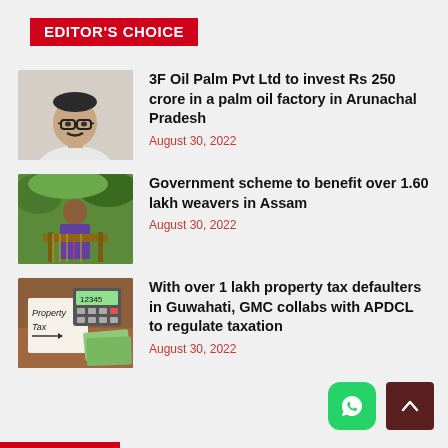EDITOR'S CHOICE
3F Oil Palm Pvt Ltd to invest Rs 250 crore in a palm oil factory in Arunachal Pradesh
August 30, 2022
Government scheme to benefit over 1.60 lakh weavers in Assam
August 30, 2022
With over 1 lakh property tax defaulters in Guwahati, GMC collabs with APDCL to regulate taxation
August 30, 2022